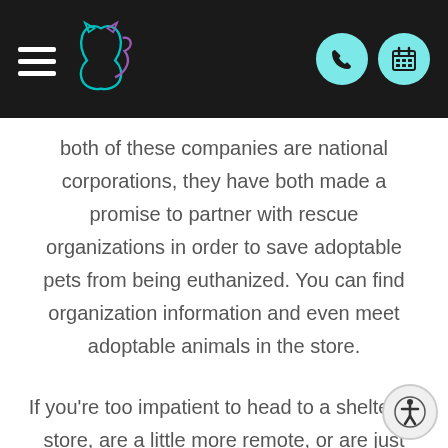FVVH navigation header with hamburger menu, logo, phone and calendar icons
both of these companies are national corporations, they have both made a promise to partner with rescue organizations in order to save adoptable pets from being euthanized. You can find organization information and even meet adoptable animals in the store.
If you're too impatient to head to a shelter or store, are a little more remote, or are just looking for more options, there are online services that can help you connect